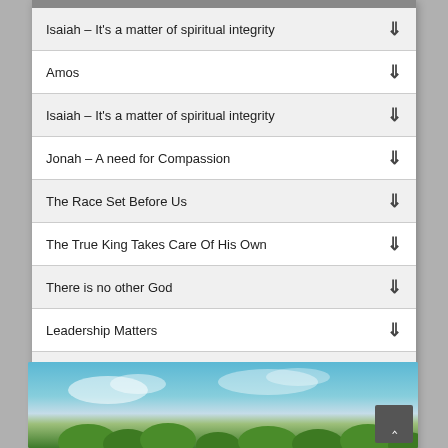Isaiah – It's a matter of spiritual integrity
Amos
Isaiah – It's a matter of spiritual integrity
Jonah – A need for Compassion
The Race Set Before Us
The True King Takes Care Of His Own
There is no other God
Leadership Matters
The Lord is Our God
A Divided Kingdom
1 2 3 4 5 6 7 8 9 10 11 12 13 14 15 16 17 18 19 20 21 22 23 24 25 26 27 28 29 30 31 32 33 34 35 36 37
[Figure (photo): Landscape photo showing blue sky, clouds, and green tree tops]